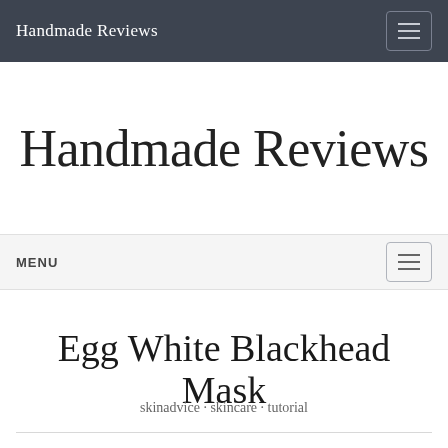Handmade Reviews
Handmade Reviews
MENU
Egg White Blackhead Mask
skinadvice · skincare · tutorial